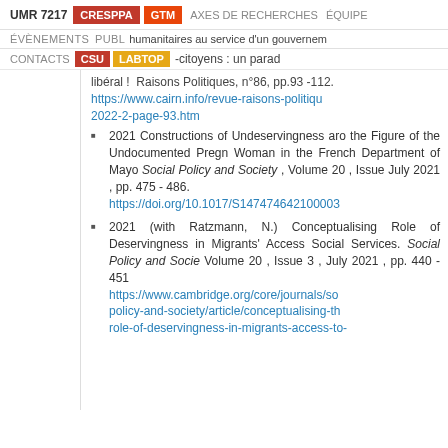UMR 7217  CRESPPA  GTM  AXES DE RECHERCHES  ÉQUIPE
ÉVÈNEMENTS  PUBLICATIONS  THÈSES  FORMATION  CONTACTS  CSU  LABTOP
humanitaires au service d'un gouvernement nécropolitain des non-citoyens : un paradoxe libéral !  Raisons Politiques, n°86, pp.93 -112. https://www.cairn.info/revue-raisons-politiques-2022-2-page-93.htm
2021 Constructions of Undeservingness around the Figure of the Undocumented Pregnant Woman in the French Department of Mayotte. Social Policy and Society , Volume 20 , Issue 3 , July 2021 , pp. 475 - 486. https://doi.org/10.1017/S147474642100003...
2021 (with Ratzmann, N.) Conceptualising the Role of Deservingness in Migrants' Access to Social Services. Social Policy and Society . Volume 20 , Issue 3 , July 2021 , pp. 440 - 451. https://www.cambridge.org/core/journals/social-policy-and-society/article/conceptualising-the-role-of-deservingness-in-migrants-access-to-